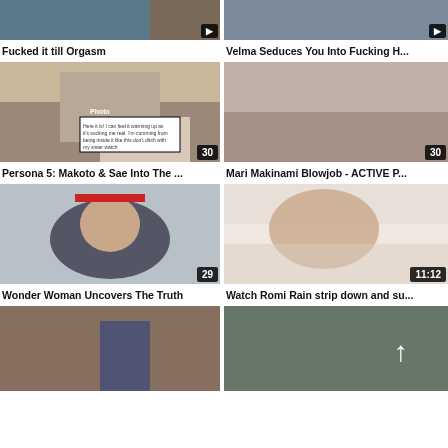[Figure (photo): Thumbnail - Fucked it till Orgasm]
Fucked it till Orgasm
[Figure (photo): Thumbnail - Velma Seduces You Into Fucking H...]
Velma Seduces You Into Fucking H...
[Figure (photo): Thumbnail - Persona 5: Makoto & Sae Into The ... | badge: 30]
Persona 5: Makoto & Sae Into The ...
[Figure (photo): Thumbnail - Mari Makinami Blowjob - ACTIVE P... | badge: 30]
Mari Makinami Blowjob - ACTIVE P...
[Figure (photo): Thumbnail - Wonder Woman Uncovers The Truth | badge: 29]
Wonder Woman Uncovers The Truth
[Figure (photo): Thumbnail - Watch Romi Rain strip down and su... | badge: 11:12]
Watch Romi Rain strip down and su...
[Figure (photo): Thumbnail - partial, bottom row left]
[Figure (photo): Thumbnail - partial, bottom row right]